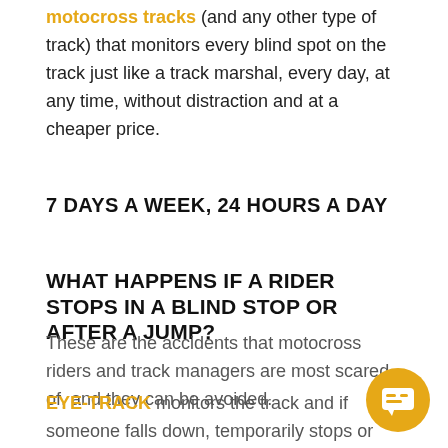motocross tracks (and any other type of track) that monitors every blind spot on the track just like a track marshal, every day, at any time, without distraction and at a cheaper price.
7 DAYS A WEEK, 24 HOURS A DAY
WHAT HAPPENS IF A RIDER STOPS IN A BLIND STOP OR AFTER A JUMP?
These are the accidents that motocross riders and track managers are most scared of, and they can be avoided.
EYE-TRACK monitors the track and if someone falls down, temporarily stops or crosses the track and then stops at a blind spot, an intense flashing light is switched on to warn incoming riders and to allow them to safely slow down and provide help.